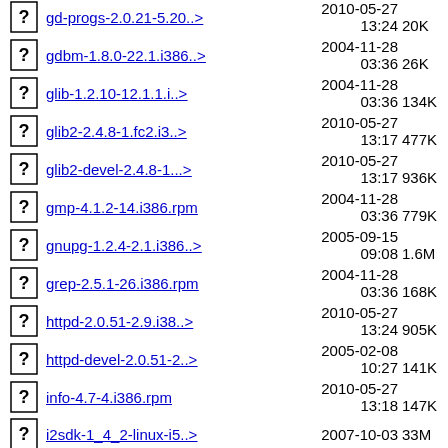gd-progs-2.0.21-5.20..> 2010-05-27 13:24 20K
gdbm-1.8.0-22.1.i386..> 2004-11-28 03:36 26K
glib-1.2.10-12.1.1.i..> 2004-11-28 03:36 134K
glib2-2.4.8-1.fc2.i3..> 2010-05-27 13:17 477K
glib2-devel-2.4.8-1...> 2010-05-27 13:17 936K
gmp-4.1.2-14.i386.rpm 2004-11-28 03:36 779K
gnupg-1.2.4-2.1.i386..> 2005-09-15 09:08 1.6M
grep-2.5.1-26.i386.rpm 2004-11-28 03:36 168K
httpd-2.0.51-2.9.i38..> 2010-05-27 13:24 905K
httpd-devel-2.0.51-2..> 2005-02-08 10:27 141K
info-4.7-4.i386.rpm 2010-05-27 13:18 147K
i2sdk-1_4_2-linux-i5..> 2007-10-03 33M